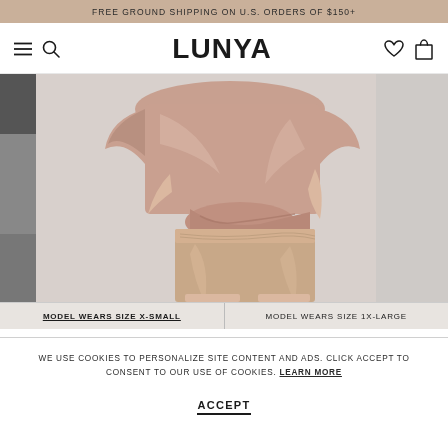FREE GROUND SHIPPING ON U.S. ORDERS OF $150+
[Figure (logo): Lunya brand logo and navigation bar with hamburger menu, search icon, heart icon, and bag icon]
[Figure (photo): Model wearing rose/mauve satin short-sleeve top and matching satin shorts, cropped product photo showing torso and lower body]
MODEL WEARS SIZE X-SMALL | MODEL WEARS SIZE 1X-LARGE
WE USE COOKIES TO PERSONALIZE SITE CONTENT AND ADS. CLICK ACCEPT TO CONSENT TO OUR USE OF COOKIES. LEARN MORE
ACCEPT